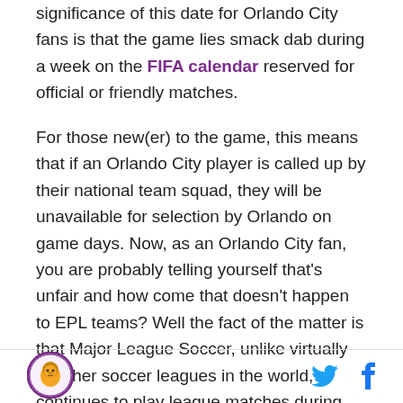significance of this date for Orlando City fans is that the game lies smack dab during a week on the FIFA calendar reserved for official or friendly matches.
For those new(er) to the game, this means that if an Orlando City player is called up by their national team squad, they will be unavailable for selection by Orlando on game days. Now, as an Orlando City fan, you are probably telling yourself that's unfair and how come that doesn't happen to EPL teams? Well the fact of the matter is that Major League Soccer, unlike virtually all other soccer leagues in the world, continues to play league matches during FIFA events (Note: MLS *did* take a two-week break during the 2014 World Cup,
[Figure (logo): Orlando City SC circular logo with lion]
[Figure (other): Twitter and Facebook social media icons]